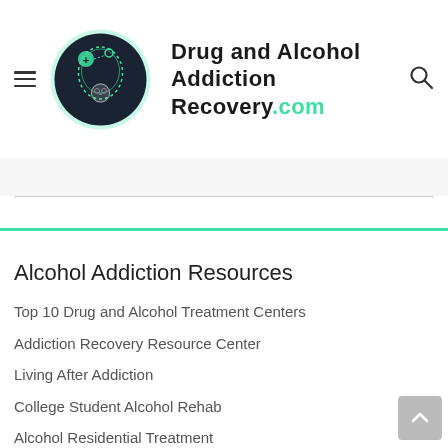[Figure (logo): Drug and Alcohol Addiction Recovery website logo — circular dark badge with brain/head illustration in green and white, site name in bold black with .com in green]
Drug and Alcohol Addiction Recovery.com
Alcohol Addiction Resources
Top 10 Drug and Alcohol Treatment Centers
Addiction Recovery Resource Center
Living After Addiction
College Student Alcohol Rehab
Alcohol Residential Treatment